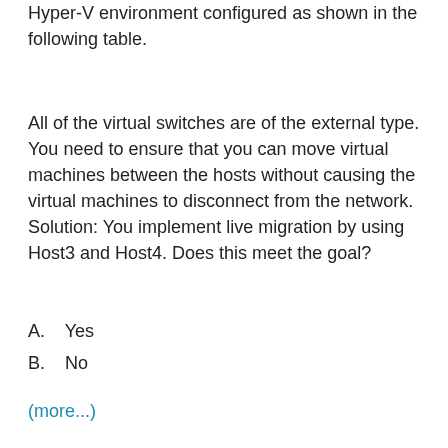Hyper-V environment configured as shown in the following table.
All of the virtual switches are of the external type. You need to ensure that you can move virtual machines between the hosts without causing the virtual machines to disconnect from the network. Solution: You implement live migration by using Host3 and Host4. Does this meet the goal?
A.    Yes
B.    No
(more...)